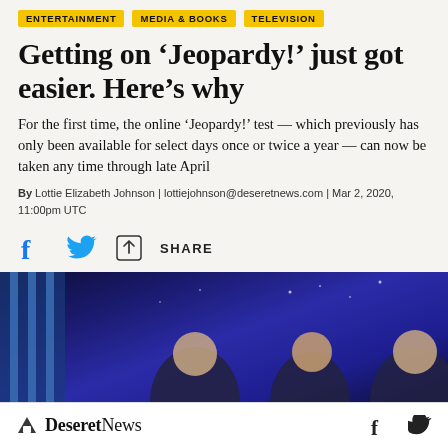ENTERTAINMENT | MEDIA & BOOKS | TELEVISION
Getting on ‘Jeopardy!’ just got easier. Here’s why
For the first time, the online ‘Jeopardy!’ test — which previously has only been available for select days once or twice a year — can now be taken any time through late April
By Lottie Elizabeth Johnson | lottiejohnson@deseretnews.com | Mar 2, 2020, 11:00pm UTC
[Figure (infographic): Social sharing icons: Facebook, Twitter, and a generic share icon with the label SHARE]
[Figure (photo): Photo of three people on the Jeopardy! stage set with a blue/purple background, appearing to smile and laugh]
Deseret News | Facebook | Twitter